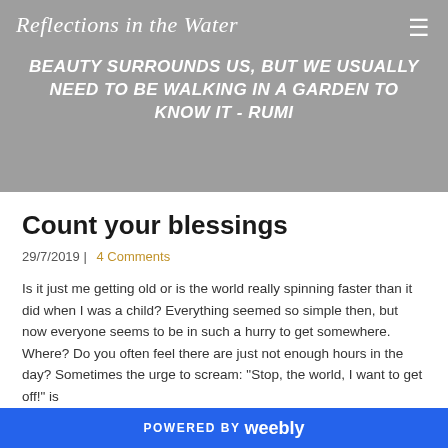Reflections in the Water
BEAUTY SURROUNDS US, BUT WE USUALLY NEED TO BE WALKING IN A GARDEN TO KNOW IT  - RUMI
Count your blessings
29/7/2019  |  4 Comments
Is it just me getting old or is the world really spinning faster than it did when I was a child? Everything seemed so simple then, but now everyone seems to be in such a hurry to get somewhere. Where? Do you often feel there are just not enough hours in the day? Sometimes the urge to scream: "Stop, the world, I want to get off!" is
POWERED BY weebly